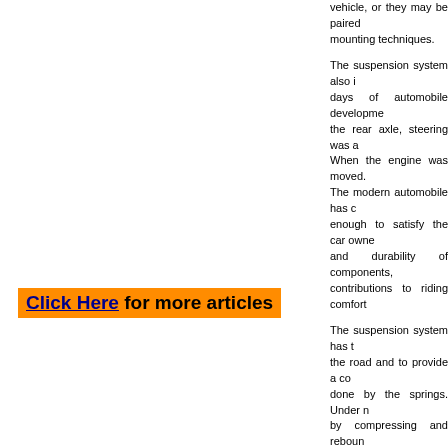vehicle, or they may be paired mounting techniques.
The suspension system also i days of automobile developme the rear axle, steering was a When the engine was moved. The modern automobile has c enough to satisfy the car owne and durability of components, contributions to riding comfort
The suspension system has t the road and to provide a co done by the springs. Under n by compressing and reboun movement, however, causes b to the passenger. These undes
Click Here for more articles
Ford is one of the top carmake of the most popular and succ operations and top-selling mo one of the best selling afterma every year to service the nee Ford owners can easily find t you are in need of high quali ,Ford Bumpers, Ford Fuel Ta purchase only from a reliable a
As one of the best automotiv many accolades. Now, it aim their fast and reliable replac